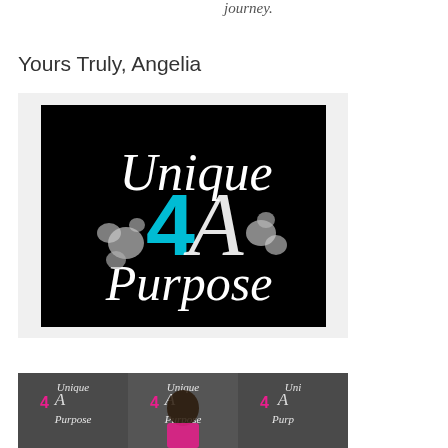journey.
Yours Truly, Angelia
[Figure (logo): Unique 4 A Purpose logo on black background with teal/cyan number 4, white decorative script text, and diamond/crystal decorative elements]
[Figure (photo): Photo of a person standing in front of a step-and-repeat banner with 'Unique 4 A Purpose' logo repeated across it in black and pink]